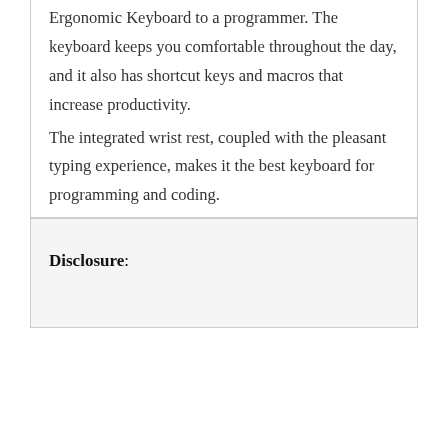It's hard NOT to recommend the Microsoft Ergonomic Keyboard to a programmer. The keyboard keeps you comfortable throughout the day, and it also has shortcut keys and macros that increase productivity.

The integrated wrist rest, coupled with the pleasant typing experience, makes it the best keyboard for programming and coding.
Disclosure: